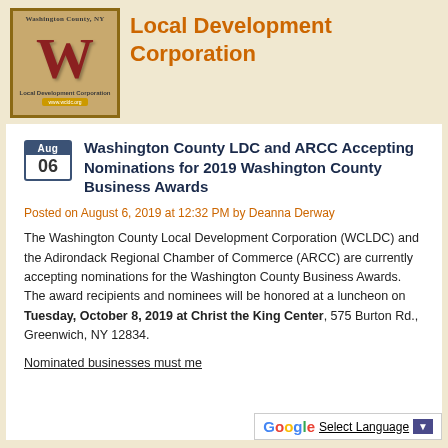[Figure (logo): Washington County NY Local Development Corporation logo with large W letter on wooden plaque background]
Local Development Corporation
Washington County LDC and ARCC Accepting Nominations for 2019 Washington County Business Awards
Posted on August 6, 2019 at 12:32 PM by Deanna Derway
The Washington County Local Development Corporation (WCLDC) and the Adirondack Regional Chamber of Commerce (ARCC) are currently accepting nominations for the Washington County Business Awards. The award recipients and nominees will be honored at a luncheon on Tuesday, October 8, 2019 at Christ the King Center, 575 Burton Rd., Greenwich, NY 12834.
Nominated businesses must me